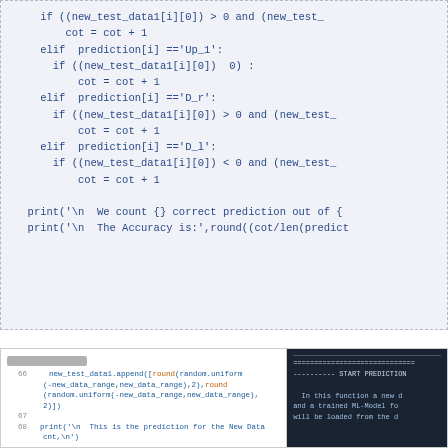[Figure (screenshot): Code block showing Python if/elif logic for prediction counting and print statements for accuracy, light blue background with dashed border]
[Figure (screenshot): Screenshot of Jupyter notebook code (left) and dark terminal output panel (right) showing new test data generation and START PREDICTION text]